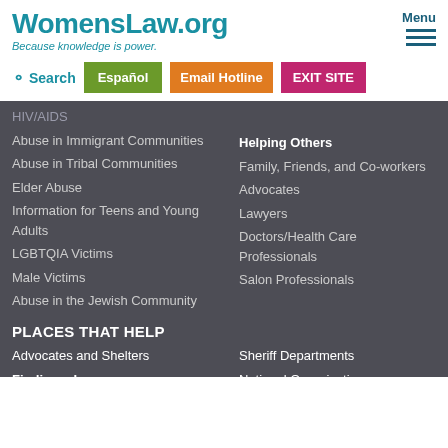WomensLaw.org
Because knowledge is power.
Menu
Search
Español
Email Hotline
EXIT SITE
HIV/AIDS
Abuse in Immigrant Communities
Abuse in Tribal Communities
Elder Abuse
Information for Teens and Young Adults
LGBTQIA Victims
Male Victims
Abuse in the Jewish Community
Helping Others
Family, Friends, and Co-workers
Advocates
Lawyers
Doctors/Health Care Professionals
Salon Professionals
PLACES THAT HELP
Advocates and Shelters
Finding a Lawyer
Choosing and Working with a Lawyer
Courthouse Locations
Sheriff Departments
National Organizations
Chats and Message Boards